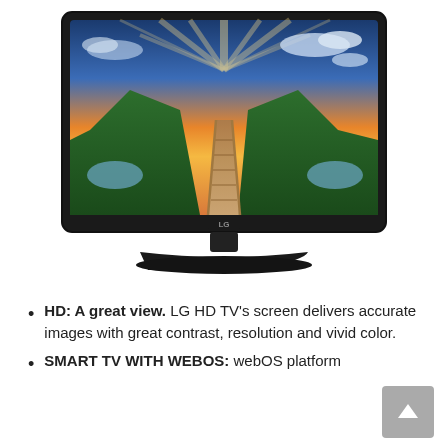[Figure (photo): LG HD TV shown from the front on a stand. The screen displays a scenic landscape with a wooden walkway leading through green hills under a dramatic orange and blue sunset sky.]
HD: A great view. LG HD TV's screen delivers accurate images with great contrast, resolution and vivid color.
SMART TV WITH WEBOS: webOS platform